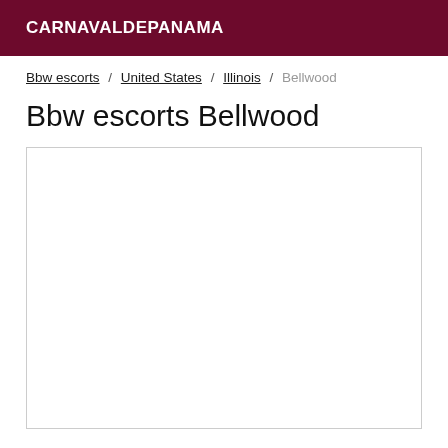CARNAVALDEPANAMA
Bbw escorts / United States / Illinois / Bellwood
Bbw escorts Bellwood
[Figure (other): Empty content box with border]